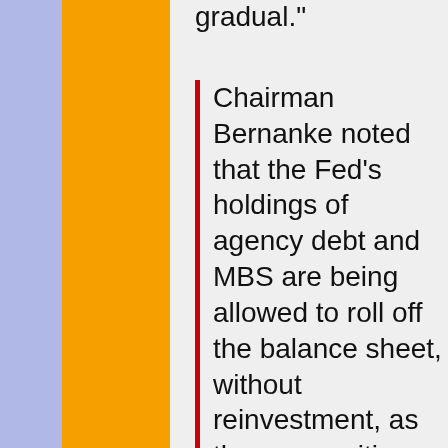gradual."
Chairman Bernanke noted that the Fed’s holdings of agency debt and MBS are being allowed to roll off the balance sheet, without reinvestment, as those securities mature or are prepaid, and that the FOMC may